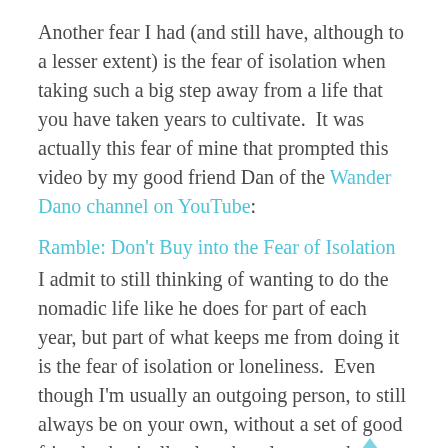Another fear I had (and still have, although to a lesser extent) is the fear of isolation when taking such a big step away from a life that you have taken years to cultivate.  It was actually this fear of mine that prompted this video by my good friend Dan of the Wander Dano channel on YouTube:
Ramble: Don't Buy into the Fear of Isolation
I admit to still thinking of wanting to do the nomadic life like he does for part of each year, but part of what keeps me from doing it is the fear of isolation or loneliness.  Even though I'm usually an outgoing person, to still always be on your own, without a set of good friends physically close by, always at the ready to catch you and lift you up, it can still seem a bit scary to me.